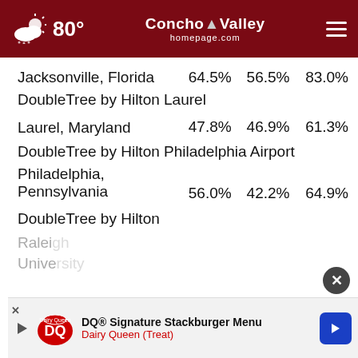80° Concho Valley homepage.com
| Hotel / Location | Col1 | Col2 | Col3 |
| --- | --- | --- | --- |
| DoubleTree by Hilton Laurel |  |  |  |
| Jacksonville, Florida | 64.5% | 56.5% | 83.0% |
| DoubleTree by Hilton Laurel |  |  |  |
| Laurel, Maryland | 47.8% | 46.9% | 61.3% |
| DoubleTree by Hilton Philadelphia Airport |  |  |  |
| Philadelphia, Pennsylvania | 56.0% | 42.2% | 64.9% |
| DoubleTree by Hilton |  |  |  |
| Raleigh University |  |  |  |